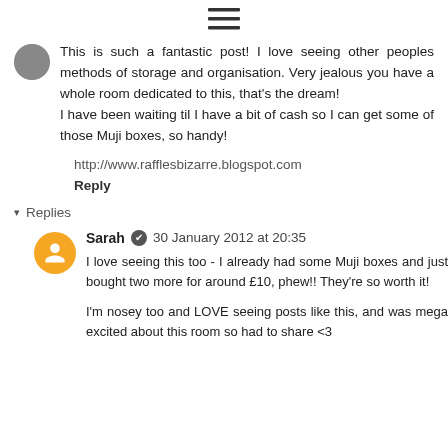[Figure (other): Hamburger menu icon (three horizontal lines)]
This is such a fantastic post! I love seeing other peoples methods of storage and organisation. Very jealous you have a whole room dedicated to this, that's the dream!
I have been waiting til I have a bit of cash so I can get some of those Muji boxes, so handy!
http://www.rafflesbizarre.blogspot.com
Reply
Replies
Sarah  30 January 2012 at 20:35
I love seeing this too - I already had some Muji boxes and just bought two more for around £10, phew!! They're so worth it!
I'm nosey too and LOVE seeing posts like this, and was mega excited about this room so had to share <3